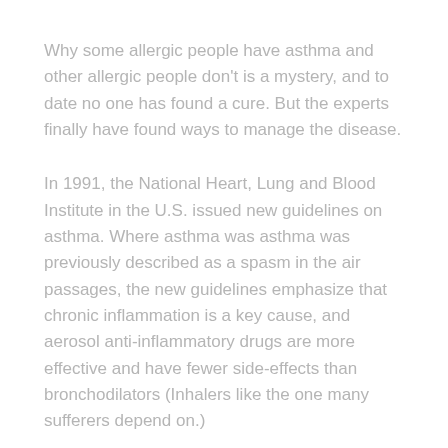Why some allergic people have asthma and other allergic people don't is a mystery, and to date no one has found a cure. But the experts finally have found ways to manage the disease.
In 1991, the National Heart, Lung and Blood Institute in the U.S. issued new guidelines on asthma. Where asthma was asthma was previously described as a spasm in the air passages, the new guidelines emphasize that chronic inflammation is a key cause, and aerosol anti-inflammatory drugs are more effective and have fewer side-effects than bronchodilators (Inhalers like the one many sufferers depend on.)
When both drugs are judiciously combined and taken